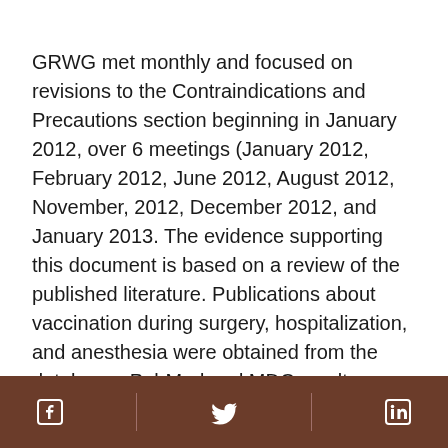GRWG met monthly and focused on revisions to the Contraindications and Precautions section beginning in January 2012, over 6 meetings (January 2012, February 2012, June 2012, August 2012, November, 2012, December 2012, and January 2013. The evidence supporting this document is based on a review of the published literature. Publications about vaccination during surgery, hospitalization, and anesthesia were obtained from the databases PubMed and MDConsult, searched from 1973 to 2014 using the MeSH (medical subject headings) terms “anesthesia” and “immunization”. The search and selection of studies was limited to English-language and human studies. The search and selection process yielded 20 publications, including
Facebook | Twitter | LinkedIn social icons